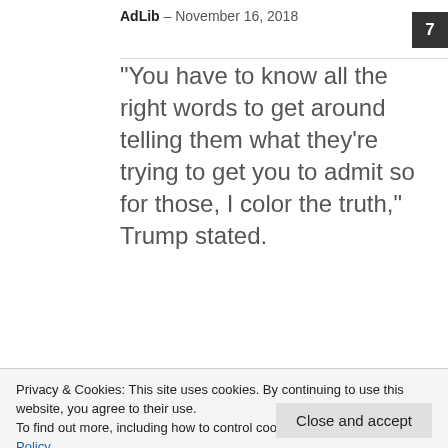AdLib – November 16, 2018   7
"You have to know all the right words to get around telling them what they're trying to get you to admit so for those, I color the truth," Trump stated.
Read more
[Figure (photo): Dark background photo showing the top of a person's head with light-colored hair, partially visible.]
Privacy & Cookies: This site uses cookies. By continuing to use this website, you agree to their use.
To find out more, including how to control cookies, see here: Cookie Policy
Close and accept